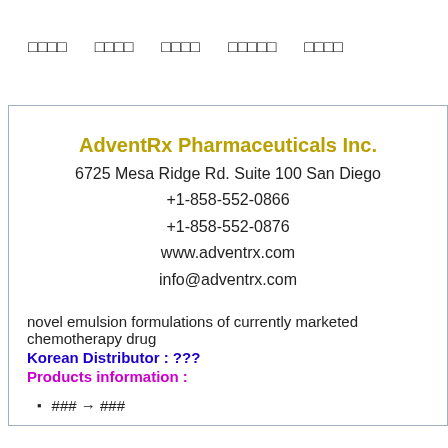□□□□  □□□□  □□□□  □□□□□  □□□□
AdventRx Pharmaceuticals Inc.
6725 Mesa Ridge Rd. Suite 100 San Diego
+1-858-552-0866
+1-858-552-0876
www.adventrx.com
info@adventrx.com
novel emulsion formulations of currently marketed chemotherapy drug
Korean Distributor : ???
Products information :
### → ###